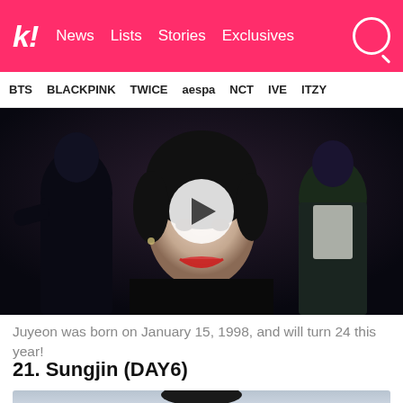k! News Lists Stories Exclusives
BTS BLACKPINK TWICE aespa NCT IVE ITZY
[Figure (screenshot): Video thumbnail showing a K-pop performer in black outfit with red lips, with a white play button circle overlaid in the center. Other performers visible in background.]
Juyeon was born on January 15, 1998, and will turn 24 this year!
21. Sungjin (DAY6)
[Figure (photo): Partially visible photo of Sungjin from DAY6, showing dark hair against a light background, cropped at bottom of page.]